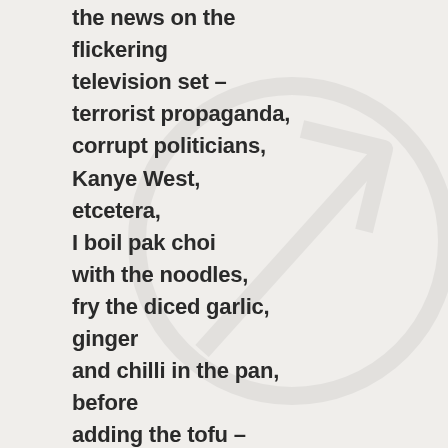the news on the
flickering
television set –
terrorist propaganda,
corrupt politicians,
Kanye West,
etcetera,
I boil pak choi
with the noodles,
fry the diced garlic,
ginger
and chilli in the pan,
before
adding the tofu –
like me,
it's so white,
and falls apart easily,